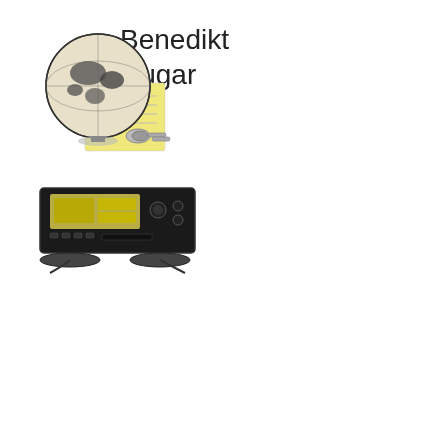Benedikt Rugar
[Figure (illustration): Globe icon with a yellow notepad and keys below it, representing internet or global connectivity]
[Figure (illustration): Black and white illustration of a stereo or audio/video equipment unit with multiple controls and displays]